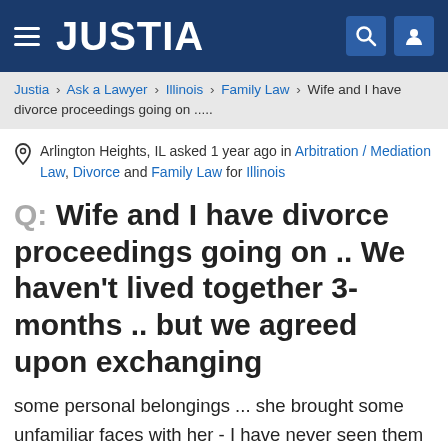JUSTIA
Justia > Ask a Lawyer > Illinois > Family Law > Wife and I have divorce proceedings going on .....
Arlington Heights, IL asked 1 year ago in Arbitration / Mediation Law, Divorce and Family Law for Illinois
Q: Wife and I have divorce proceedings going on .. We haven't lived together 3-months .. but we agreed upon exchanging
some personal belongings ... she brought some unfamiliar faces with her - I have never seen them or met them even in our marriage reception I don't see them in pictures .. Her name is still on the lease ... How can I make them give me state issued IDs before they